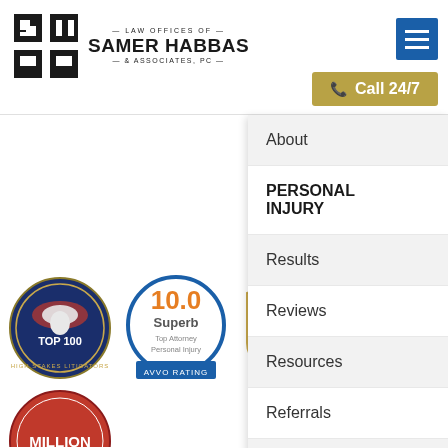[Figure (logo): Law Offices of Samer Habbas & Associates, PC logo with SH shield icon]
[Figure (other): Blue hamburger menu button icon]
[Figure (other): Gold Call 24/7 button with phone icon]
About
PERSONAL INJURY
Results
Reviews
Resources
Referrals
Contact
[Figure (illustration): High Stakes Litigators Top 100 badge - circular blue badge with eagle]
[Figure (illustration): Avvo 10.0 Superb Top Attorney Personal Injury badge - blue circular badge with orange 10.0 rating]
[Figure (illustration): NAFLA Top Ten Ranking 2018 badge - black and gold badge with scales of justice]
[Figure (illustration): Scroll to top arrow button in gold]
[Figure (illustration): Partial Million Dollar badge at bottom left]
[Figure (illustration): Partial orange badge at bottom right]